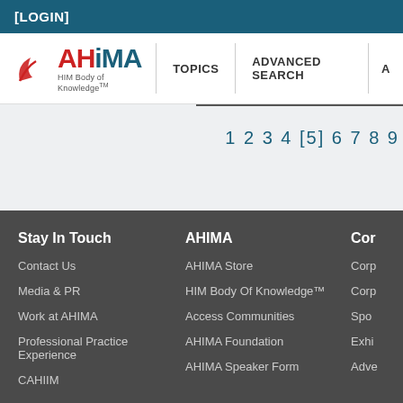[LOGIN]
[Figure (logo): AHIMA HIM Body of Knowledge logo with red arc graphic and teal text]
TOPICS   ADVANCED SEARCH   A...
1 2 3 4 [5] 6 7 8 9
Stay In Touch | AHIMA | Cor...
Contact Us
Media & PR
Work at AHIMA
Professional Practice Experience
CAHIIM
AHIMA Store
HIM Body Of Knowledge™
Access Communities
AHIMA Foundation
AHIMA Speaker Form
Cor...
Corp...
Spo...
Exhi...
Adve...